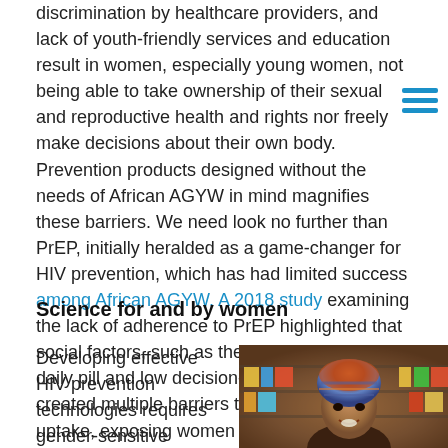discrimination by healthcare providers, and lack of youth-friendly services and education result in women, especially young women, not being able to take ownership of their sexual and reproductive health and rights nor freely make decisions about their own body. Prevention products designed without the needs of African AGYW in mind magnifies these barriers. We need look no further than PrEP, initially heralded as a game-changer for HIV prevention, which has had limited success among African AGYW. A 2018 study examining the lack of adherence to PrEP highlighted that social factors, such as the stigma of taking a daily pill and low decision-making power, created multiple barriers to widespread PrEP uptake, exposing women to greater risk.
Science for and by women
Developing effective HIV prevention technologies requires gender-sensitive
[Figure (photo): Photo of an African woman wearing a colorful head wrap, smiling, in front of a store with goods on shelves]